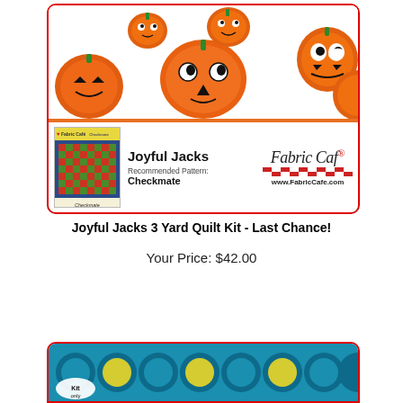[Figure (photo): Joyful Jacks 3 Yard Quilt Kit product image showing Halloween pumpkin fabric on top, orange bat fabric strip in middle, black polka dot fabric at bottom, with Checkmate pattern booklet thumbnail and Fabric Cafe branding]
Joyful Jacks 3 Yard Quilt Kit - Last Chance!
Your Price: $42.00
[Figure (photo): Second product card showing teal/blue circles fabric with yellow circles, Kit only label visible]